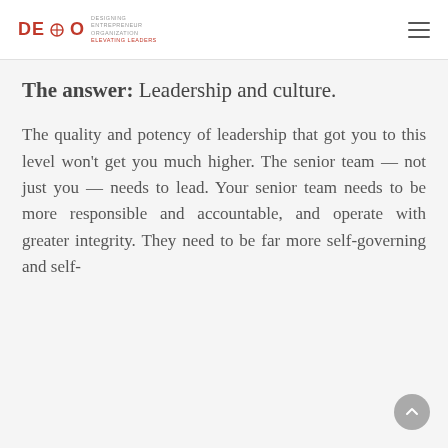DEO — Designing Entrepreneurship Organization — Elevating Leaders
The answer: Leadership and culture.
The quality and potency of leadership that got you to this level won't get you much higher. The senior team — not just you — needs to lead. Your senior team needs to be more responsible and accountable, and operate with greater integrity. They need to be far more self-governing and self-